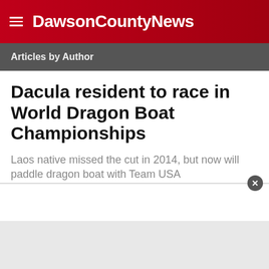DawsonCountyNews
Articles by Author
Dacula resident to race in World Dragon Boat Championships
Laos native missed the cut in 2014, but now will paddle dragon boat with Team USA
[Figure (photo): Photograph of open water with a small red buoy visible in the middle distance, grey water surface filling the frame.]